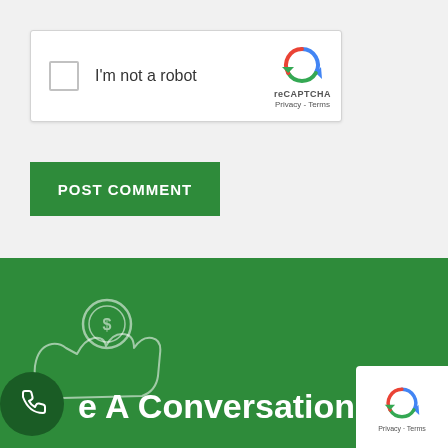[Figure (screenshot): reCAPTCHA widget with checkbox labeled 'I'm not a robot' and reCAPTCHA logo with Privacy and Terms links]
POST COMMENT
[Figure (illustration): Hand holding a coin (dollar sign) icon, outline style in light green on dark green background]
e A Conversation
[Figure (illustration): Phone icon in white on dark green circle bubble]
[Figure (screenshot): reCAPTCHA badge with logo and Privacy - Terms links]